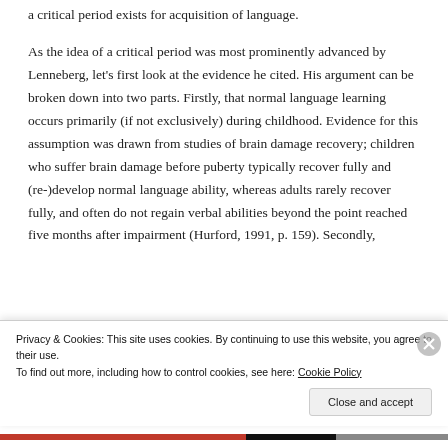a critical period exists for acquisition of language.
As the idea of a critical period was most prominently advanced by Lenneberg, let's first look at the evidence he cited. His argument can be broken down into two parts. Firstly, that normal language learning occurs primarily (if not exclusively) during childhood. Evidence for this assumption was drawn from studies of brain damage recovery; children who suffer brain damage before puberty typically recover fully and (re-)develop normal language ability, whereas adults rarely recover fully, and often do not regain verbal abilities beyond the point reached five months after impairment (Hurford, 1991, p. 159). Secondly,
Privacy & Cookies: This site uses cookies. By continuing to use this website, you agree to their use. To find out more, including how to control cookies, see here: Cookie Policy